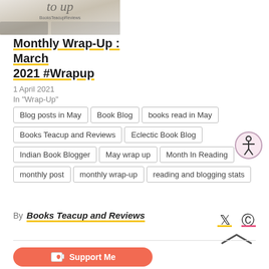[Figure (photo): Book blog header image with text BooksTeacupReviews visible]
Monthly Wrap-Up : March 2021 #Wrapup
1 April 2021
In "Wrap-Up"
Blog posts in May
Book Blog
books read in May
Books Teacup and Reviews
Eclectic Book Blog
Indian Book Blogger
May wrap up
Month In Reading
monthly post
monthly wrap-up
reading and blogging stats
By Books Teacup and Reviews
[Figure (logo): Ko-fi Support Me button in red/orange]
[Figure (illustration): Accessibility icon - person in circle]